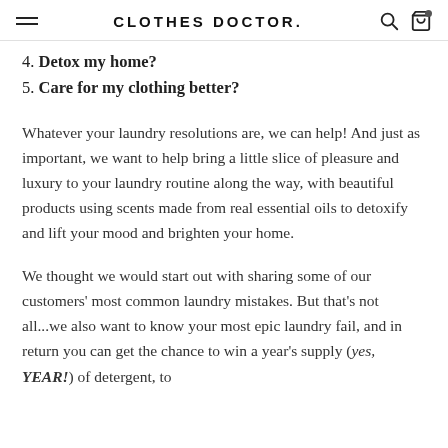CLOTHES DOCTOR.
4. Detox my home?
5. Care for my clothing better?
Whatever your laundry resolutions are, we can help! And just as important, we want to help bring a little slice of pleasure and luxury to your laundry routine along the way, with beautiful products using scents made from real essential oils to detoxify and lift your mood and brighten your home.
We thought we would start out with sharing some of our customers' most common laundry mistakes. But that's not all...we also want to know your most epic laundry fail, and in return you can get the chance to win a year's supply (yes, YEAR!) of detergent, to